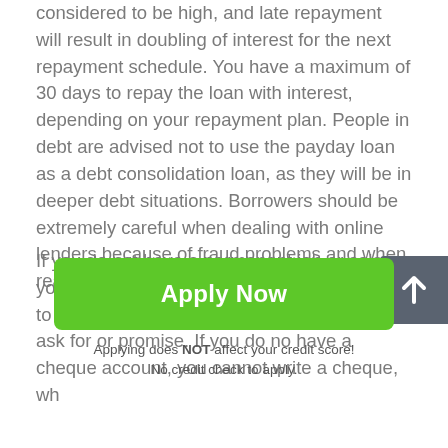considered to be high, and late repayment will result in doubling of interest for the next repayment schedule. You have a maximum of 30 days to repay the loan with interest, depending on your repayment plan. People in debt are advised not to use the payday loan as a debt consolidation loan, as they will be in deeper debt situations. Borrowers should be extremely careful when dealing with online lenders because of fraud problems and when reading the fine print.
If you do not have a permanent job or salary, you will not get North Carolina payday loans to repay your debt, no matter how much you ask for or promise. If you do not have a cheque account, you cannot write a cheque, which...
[Figure (other): Green 'Apply Now' button]
Applying does NOT affect your credit score!
No credit check to apply.